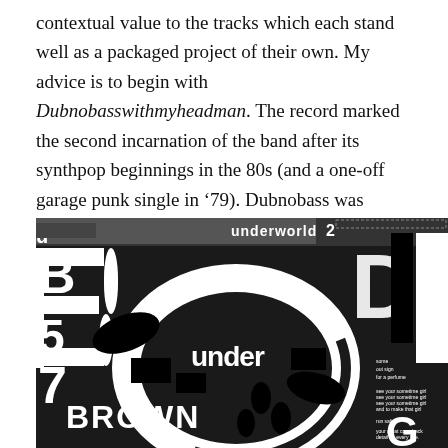contextual value to the tracks which each stand well as a packaged project of their own. My advice is to begin with Dubnobasswithmyheadman. The record marked the second incarnation of the band after its synthpop beginnings in the 80s (and a one-off garage punk single in '79). Dubnobass was incredibly progressive given the sound of techno and house in 1994. It contains eternal hits like "Cowgirl" and "Dark and Long".
[Figure (illustration): Black and white collage-style album artwork featuring fragmented large typographic letters and abstract graphic shapes, including partial words like 'under', 'BROWN', and other text fragments arranged in a chaotic, deconstructed layout.]